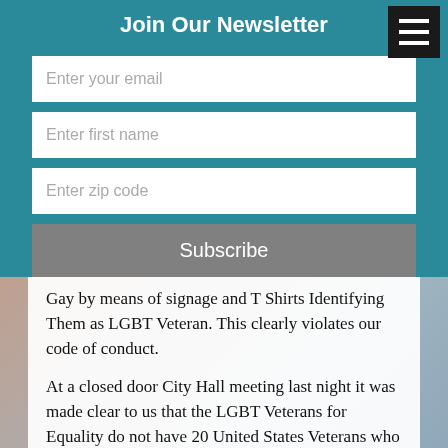Join Our Newsletter
[Figure (screenshot): Newsletter signup form with fields for email, first name, zip code, and a Subscribe button on a teal background]
Gay by means of signage and T Shirts Identifying Them as LGBT Veteran. This clearly violates our code of conduct.
At a closed door City Hall meeting last night it was made clear to us that the LGBT Veterans for Equality do not have 20 United States Veterans who wish to march. Rather, they presented only one supposed Veteran and a group of others